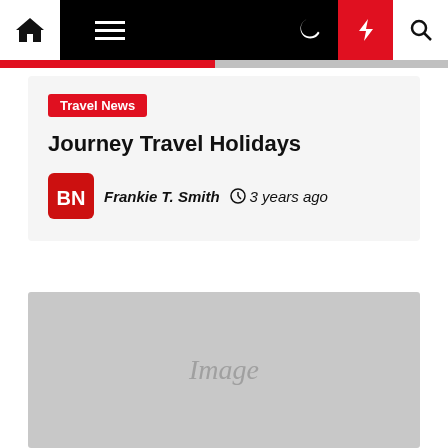Navigation bar with home, menu, moon, bolt, and search icons
Travel News
Journey Travel Holidays
Frankie T. Smith  3 years ago
[Figure (photo): Image placeholder (grey rectangle with 'Image' text)]